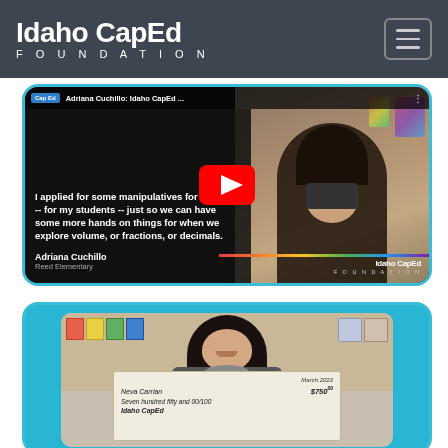[Figure (logo): Idaho CapEd Foundation logo in white text on dark gray navigation bar]
[Figure (screenshot): YouTube video thumbnail for 'Adriana Cuchillo: Idaho CapEd...' showing a teacher with a mask and text quote about math manipulatives. Features YouTube play button overlay. Name: Adriana Cuchillo, Reed Elementary.]
[Figure (photo): Photo of a woman smiling holding a large check made out to Neva Carrian for $750.00, Seven hundred fifty and 00/100, dated March 2022, from Idaho CapEd Foundation. Set in a classroom.]